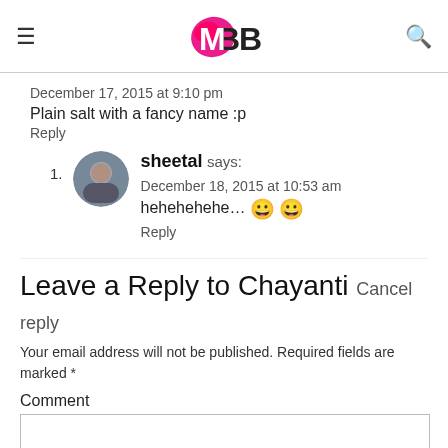IMBB (logo)
December 17, 2015 at 9:10 pm
Plain salt with a fancy name :p
Reply
sheetal says:
December 18, 2015 at 10:53 am
hehehehehe... 😀 😀
Reply
Leave a Reply to Chayanti Cancel reply
Your email address will not be published. Required fields are marked *
Comment